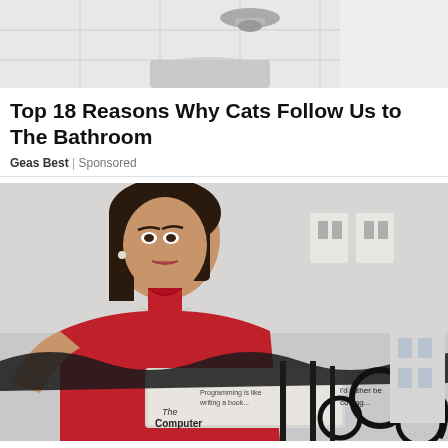[Figure (photo): Photo of a bathroom sink with faucet and white tiles, person in white shirt partially visible]
Top 18 Reasons Why Cats Follow Us to The Bathroom
Geas Best | Sponsored
[Figure (photo): Young woman in a red dress holding a laptop/book with text 'i'd rather be coding...' and 'The Computer', standing on a balcony with ornate iron railing]
Easy Jobs From Home? Sell Products Online